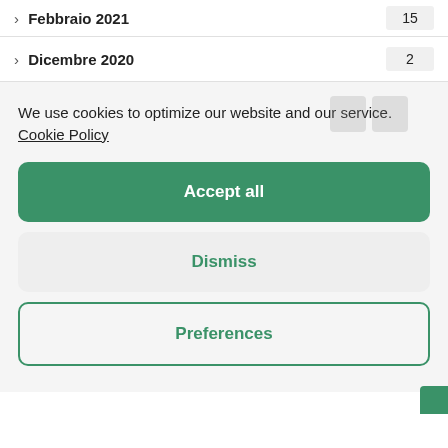Febbraio 2021  15
Dicembre 2020  2
We use cookies to optimize our website and our service.  Cookie Policy
Accept all
Dismiss
Preferences